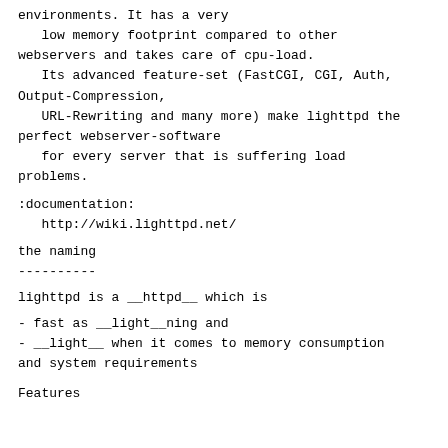environments. It has a very
   low memory footprint compared to other
webservers and takes care of cpu-load.
   Its advanced feature-set (FastCGI, CGI, Auth,
Output-Compression,
   URL-Rewriting and many more) make lighttpd the
perfect webserver-software
   for every server that is suffering load
problems.
:documentation:
   http://wiki.lighttpd.net/
the naming
----------
lighttpd is a __httpd__ which is
- fast as __light__ning and
- __light__ when it comes to memory consumption
and system requirements
Features